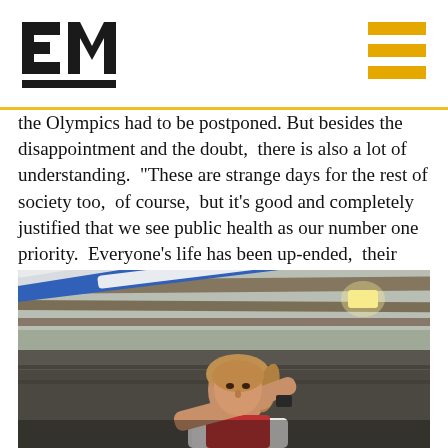EM
the Olympics had to be postponed. But besides the disappointment and the doubt, there is also a lot of understanding. “These are strange days for the rest of society too, of course, but it’s good and completely justified that we see public health as our number one priority. Everyone’s life has been up-ended, their work situations are completely different and people are facing an uncertain future.”
[Figure (photo): A young female athlete with a ponytail, wearing a white and red jersey and a watch, carries rowing oars on her shoulder inside what appears to be a boat storage facility or boathouse with wooden beams on the ceiling.]